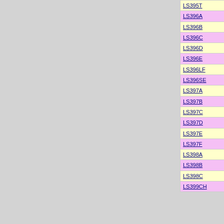| Code | Description |
| --- | --- |
| LS395T | Lamborghini Gallardo LP570-4 Tribute (Solid White) Limited Edition 25pcs. |
| LS396A | Bugatti Veyron 16.4 Vitesse Grand Sport Geneve Motorshow 2012 (Jey Grey/Jet Grey Matt) |
| LS396B | Bugatti Veyron 16.4 Grand Sport Vitesse Geneve Motorshow 2012 (Blue Carbonium/Bugatti Blue Sport) |
| LS396C | Bugatti Veyron 16.4 Vitesse Grand Sport Geneve Motorshow 2012 (Black Carbonium/White) |
| LS396D | Bugatti Veyron 16.4 Vitesse Grand Sport Geneve Motorshow 2012 (Tangerine/Carbonium) |
| LS396E | Bugatti Veyron 16.4 Vitesse Grand Sport Geneve Motorshow 2012 (Black/Red) |
| LS396LF | Bugatti Veyron 16.4 Grand Sport Vitesse La Finale |
| LS396SE | Bugatti Veyron 16.4 Vitesse Grand Sport Paris Motorshow 2012 (White/Light Blue) |
| LS397A | Ferrari F12 Berlinetta 2012 (Rosso Berlinetta) |
| LS397B | Ferrari F12 Berlinetta 2012 (Alluminio) |
| LS397C | Ferrari F12 Berlinetta 2012 (Rosso Corsa) |
| LS397D | Ferrari F12 Berlinetta 2012 (Grigio Titanio) |
| LS397E | Ferrari F12 Berlinetta 2012 (Giallo Tristrato) |
| LS397F | Ferrari F12 Berlinetta 2012 (British Racing Green) |
| LS398A | Lamborghini Aventador J - Geneve Motorshow 2012 (Metallic Red) |
| LS398B | Lamborghini Aventador J - Geneve Motorshow 2012 (Orion Yellow) |
| LS398C | Lamborghini Aventador J - Geneve Motorshow 2012 (Isis White) |
| LS399CH | Lamborghini Aventador J 'Year of the Dragon' |